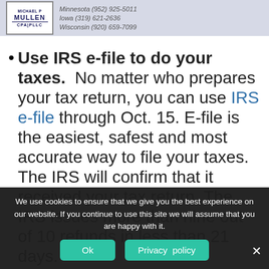[Figure (logo): Michael P. Mullen CPA PLLC logo with Minnesota, Iowa, and Wisconsin phone numbers overlaid on a light blue-gray banner]
Use IRS e-file to do your taxes. No matter who prepares your tax return, you can use IRS e-file through Oct. 15. E-file is the easiest, safest and most accurate way to file your taxes. The IRS will confirm that it received your tax return. The IRS issues more than nine out of 10 refunds in less than 21 days.
Pay as much as you can. If you owe
We use cookies to ensure that we give you the best experience on our website. If you continue to use this site we will assume that you are happy with it.